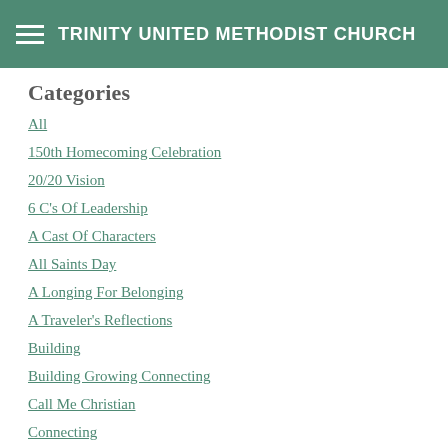TRINITY UNITED METHODIST CHURCH
Categories
All
150th Homecoming Celebration
20/20 Vision
6 C's Of Leadership
A Cast Of Characters
All Saints Day
A Longing For Belonging
A Traveler's Reflections
Building
Building Growing Connecting
Call Me Christian
Connecting
Covenant Renewal
Earn Save Give
Easter Sunday